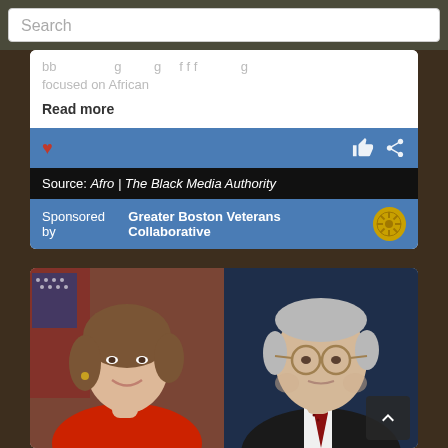Search
focused on African
Read more
Source: Afro | The Black Media Authority
Sponsored by Greater Boston Veterans Collaborative
[Figure (photo): Portrait photo of Nancy Pelosi in red jacket with American flag background]
[Figure (photo): Portrait photo of Mitch McConnell in dark suit with glasses against dark blue background]